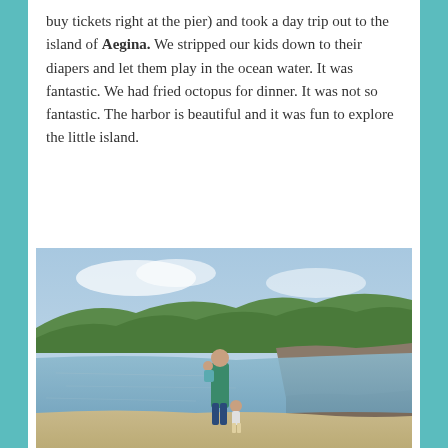buy tickets right at the pier) and took a day trip out to the island of Aegina. We stripped our kids down to their diapers and let them play in the ocean water. It was fantastic. We had fried octopus for dinner. It was not so fantastic. The harbor is beautiful and it was fun to explore the little island.
[Figure (photo): A person standing barefoot at the shoreline of a rocky island beach, holding a young child. Another small child stands nearby in the shallow water. Green trees and rocky coastline in the background under a partly cloudy sky.]
[Figure (photo): A large Gothic-style cathedral with two tall ornate towers photographed from below against a pale blue sky. Buildings visible on either side.]